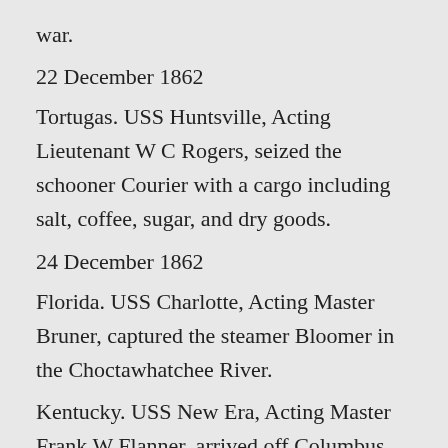war.
22 December 1862
Tortugas. USS Huntsville, Acting Lieutenant W C Rogers, seized the schooner Courier with a cargo including salt, coffee, sugar, and dry goods.
24 December 1862
Florida. USS Charlotte, Acting Master Bruner, captured the steamer Bloomer in the Choctawhatchee River.
Kentucky. USS New Era, Acting Master Frank W Flanner, arrived off Columbus, bringing support and supplies to the garrison against an impending attack by a large Confederate force. USS New Era had been dispatched to Columbus at the urgent request of Brigadier-General James Madison Tuttle, and brought a